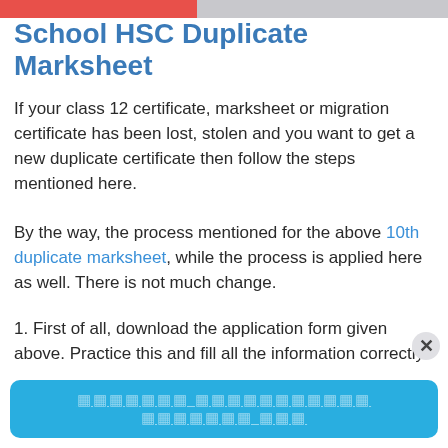School HSC Duplicate Marksheet
If your class 12 certificate, marksheet or migration certificate has been lost, stolen and you want to get a new duplicate certificate then follow the steps mentioned here.
By the way, the process mentioned for the above 10th duplicate marksheet, while the process is applied here as well. There is not much change.
1. First of all, download the application form given above. Practice this and fill all the information correctly.
Remember one more thing here: we have more
[Figure (other): Blue banner at bottom with placeholder/redacted text in Hindi/regional script, styled as a call-to-action button]